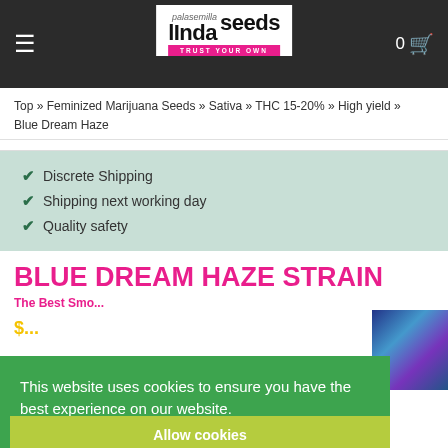Linda Seeds – Trust Your Own
Top » Feminized Marijuana Seeds » Sativa » THC 15-20% » High yield » Blue Dream Haze
Discrete Shipping
Shipping next working day
Quality safety
BLUE DREAM HAZE STRAIN
This website uses cookies to ensure you have the best experience on our website. Learn More
Allow cookies